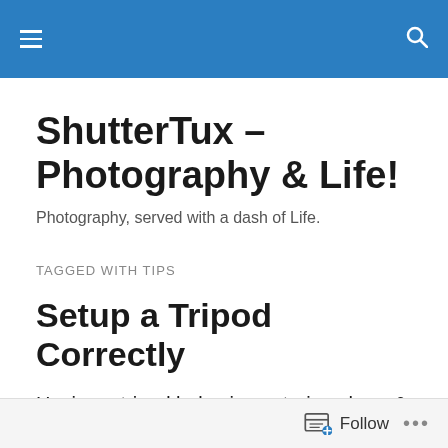[Navigation bar with hamburger menu and search icon]
ShutterTux – Photography & Life!
Photography, served with a dash of Life.
TAGGED WITH TIPS
Setup a Tripod Correctly
Having a tripod helps in capturing sharp & steady photographs. However, it is just as crucial to know how to setup a tripod properly to get the steady photographs in
Follow ...